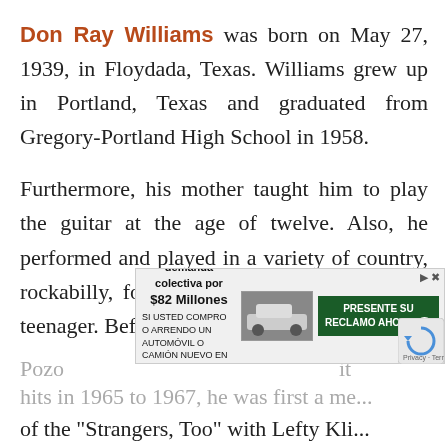Don Ray Williams was born on May 27, 1939, in Floydada, Texas. Williams grew up in Portland, Texas and graduated from Gregory-Portland High School in 1958.
Furthermore, his mother taught him to play the guitar at the age of twelve. Also, he performed and played in a variety of country, rockabilly, folk, and rock & roll bands as a teenager. Before joining "The
[Figure (other): Advertisement overlay: Acuerdo de la demanda colectiva por $82 Millones. SI USTED COMPRO O ARRENDO UN AUTOMOVIL O CAMION NUEVO EN CALIFORNIA DESDE 2001 A 2003. PRESENTE SU RECLAMO AHORA. With car image, close buttons, and CAPTCHA widget partially visible.]
hits in 1965 to 1967, he was first a member of the "Strangers, Too" with Lefty...